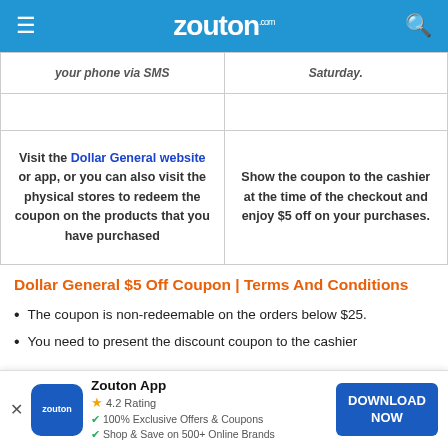zouton.com
| your phone via SMS | Saturday. |
|  |  |
| Visit the Dollar General website or app, or you can also visit the physical stores to redeem the coupon on the products that you have purchased | Show the coupon to the cashier at the time of the checkout and enjoy $5 off on your purchases. |
Dollar General $5 Off Coupon | Terms And Conditions
The coupon is non-redeemable on the orders below $25.
You need to present the discount coupon to the cashier